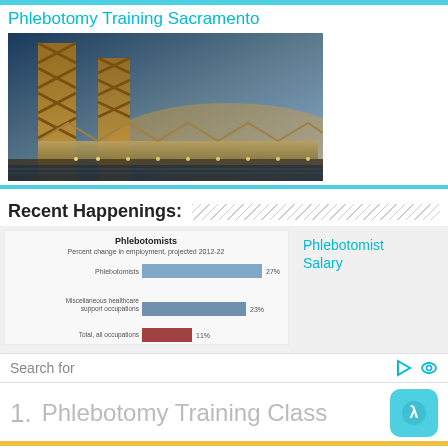Phlebotomy Training Sacramento
[Figure (photo): Photo of a steel truss bridge (Tower Bridge, Sacramento) at dusk with warm golden/orange tones on the towers and a blue sky background]
Recent Happenings:
[Figure (bar-chart): Phlebotomists - Percent change in employment, projected 2012-22]
Phlebotomist Salary
Search for
1.  Phlebotomy Training Class